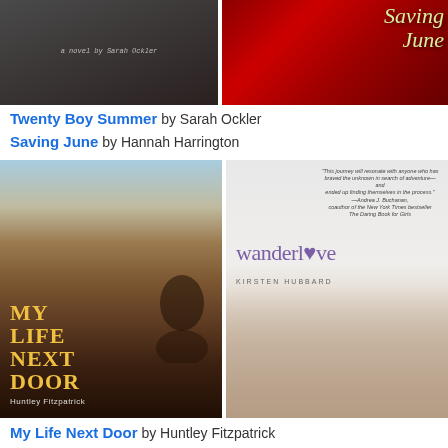[Figure (photo): Book cover of Twenty Boy Summer by Sarah Ockler - dark wooden background with handwritten text]
[Figure (photo): Book cover of Saving June by Hannah Harrington - red floral background with cursive title]
Twenty Boy Summer by Sarah Ockler
Saving June by Hannah Harrington
[Figure (photo): Book cover of My Life Next Door by Huntley Fitzpatrick - couple about to kiss near wooden fence with garden]
[Figure (photo): Book cover of Wanderlove by Kirsten Hubbard - young woman with flower, purple text title]
My Life Next Door by Huntley Fitzpatrick